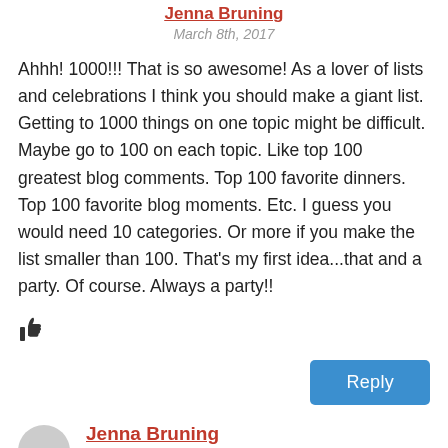Jenna Bruning
March 8th, 2017
Ahhh! 1000!!! That is so awesome! As a lover of lists and celebrations I think you should make a giant list. Getting to 1000 things on one topic might be difficult. Maybe go to 100 on each topic. Like top 100 greatest blog comments. Top 100 favorite dinners. Top 100 favorite blog moments. Etc. I guess you would need 10 categories. Or more if you make the list smaller than 100. That's my first idea...that and a party. Of course. Always a party!!
[Figure (other): Thumbs up icon]
Reply
Jenna Bruning
March 8th, 2017